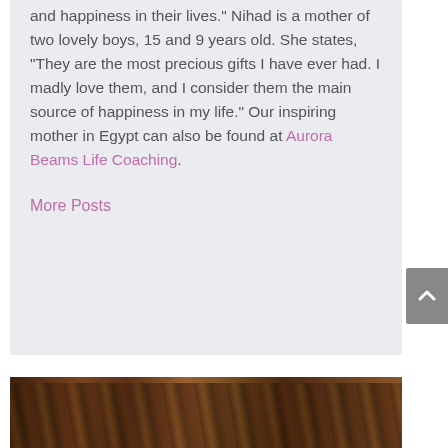and happiness in their lives." Nihad is a mother of two lovely boys, 15 and 9 years old. She states, "They are the most precious gifts I have ever had. I madly love them, and I consider them the main source of happiness in my life." Our inspiring mother in Egypt can also be found at Aurora Beams Life Coaching.
More Posts
[Figure (photo): A photograph showing a group of people, appearing to be women, gathered together in what looks like an indoor setting with warm brown tones.]